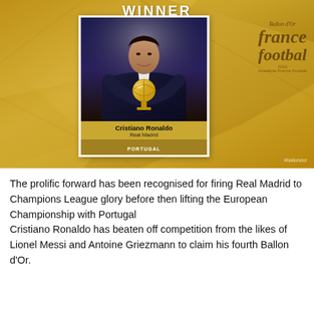[Figure (photo): Ballon d'Or winner card for Cristiano Ronaldo showing him holding the golden trophy, wearing a dark suit. Text on card: 'WINNER' at top, player name 'Cristiano Ronaldo', club 'Real Madrid', country 'PORTUGAL'. Background shows France Football Ballon d'Or golden ball branding with 'Ballon d'Or', 'france football', '2016', '#ballondor' hashtag.]
The prolific forward has been recognised for firing Real Madrid to Champions League glory before then lifting the European Championship with Portugal Cristiano Ronaldo has beaten off competition from the likes of Lionel Messi and Antoine Griezmann to claim his fourth Ballon d'Or.